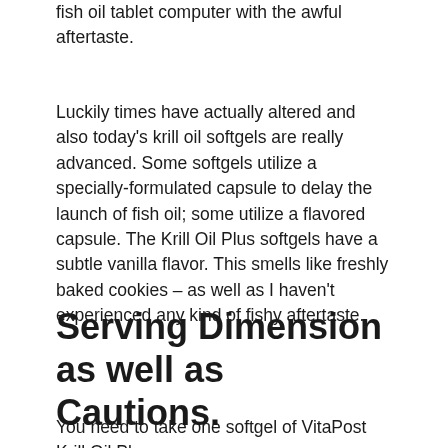fish oil tablet computer with the awful aftertaste.
Luckily times have actually altered and also today's krill oil softgels are really advanced. Some softgels utilize a specially-formulated capsule to delay the launch of fish oil; some utilize a flavored capsule. The Krill Oil Plus softgels have a subtle vanilla flavor. This smells like freshly baked cookies – as well as I haven't experienced any kind of fishy aftertaste.
Serving Dimension as well as Cautions.
You need to take one softgel of VitaPost Krill Oil Plus...